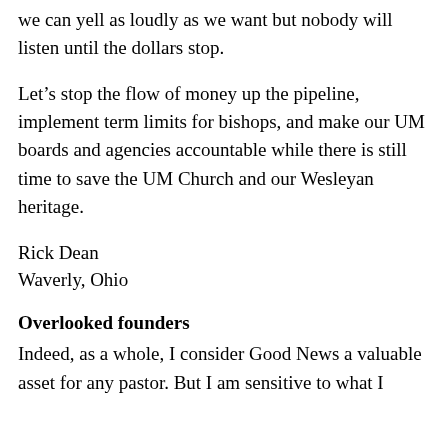we can yell as loudly as we want but nobody will listen until the dollars stop.
Let’s stop the flow of money up the pipeline, implement term limits for bishops, and make our UM boards and agencies accountable while there is still time to save the UM Church and our Wesleyan heritage.
Rick Dean
Waverly, Ohio
Overlooked founders
Indeed, as a whole, I consider Good News a valuable asset for any pastor. But I am sensitive to what I